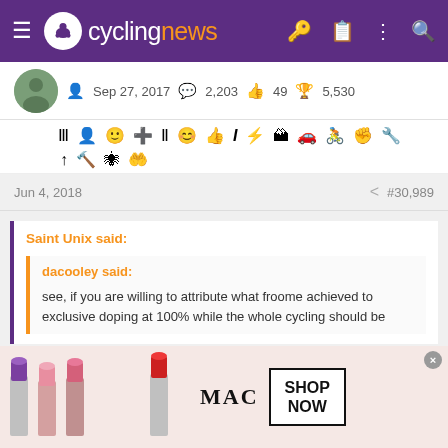cyclingnews
Sep 27, 2017   2,203   49   5,530
[Figure (screenshot): Toolbar with emoji and formatting icons]
Jun 4, 2018   #30,989
Saint Unix said:
dacooley said:
see, if you are willing to attribute what froome achieved to exclusive doping at 100% while the whole cycling should be
[Figure (photo): MAC cosmetics advertisement showing lipsticks with SHOP NOW button]